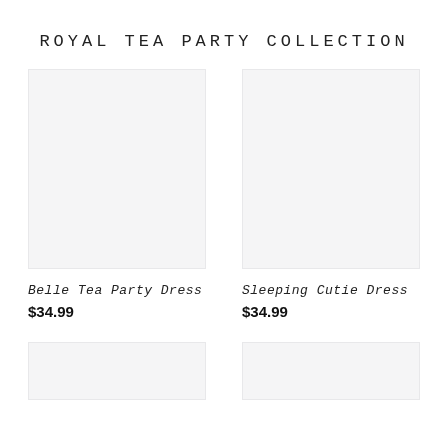ROYAL TEA PARTY COLLECTION
[Figure (photo): Product image placeholder for Belle Tea Party Dress, light gray background]
Belle Tea Party Dress
$34.99
[Figure (photo): Product image placeholder for Sleeping Cutie Dress, light gray background]
Sleeping Cutie Dress
$34.99
[Figure (photo): Product image placeholder bottom left, light gray background, partially visible]
[Figure (photo): Product image placeholder bottom right, light gray background, partially visible]